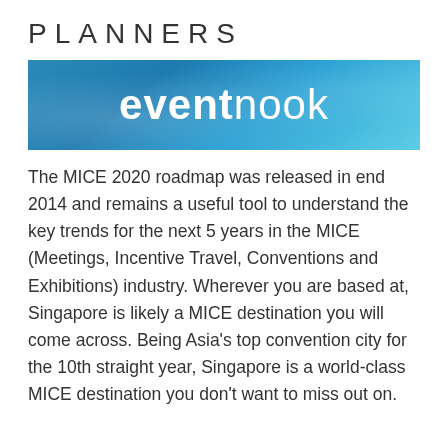PLANNERS
[Figure (logo): Eventnook logo - white text on blue gradient background. Text reads 'eventnook' with 'event' in bold and 'nook' in light weight.]
The MICE 2020 roadmap was released in end 2014 and remains a useful tool to understand the key trends for the next 5 years in the MICE (Meetings, Incentive Travel, Conventions and Exhibitions) industry. Wherever you are based at, Singapore is likely a MICE destination you will come across. Being Asia's top convention city for the 10th straight year, Singapore is a world-class MICE destination you don't want to miss out on.